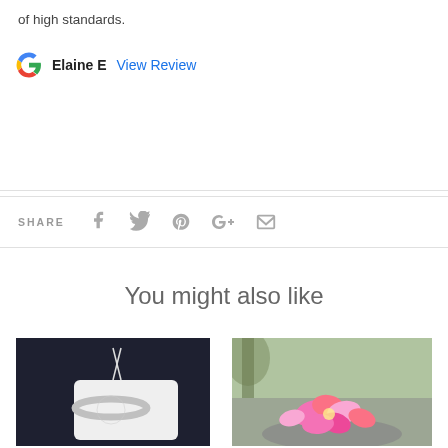of high standards.
Elaine E   View Review
SHARE
[Figure (infographic): Social share icons: Facebook, Twitter, Pinterest, Google+, Email]
You might also like
[Figure (photo): A silver ring on a white cloth pouch on a dark background]
[Figure (photo): Pink tropical flowers (plumeria) with blurred outdoor background]